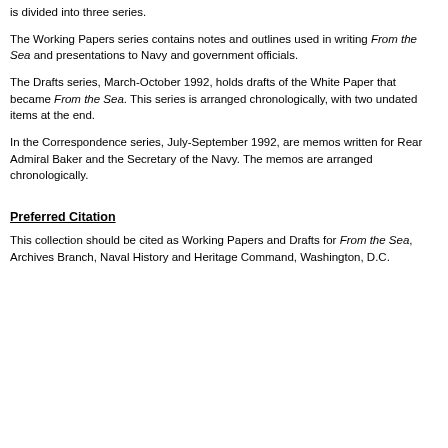is divided into three series.
The Working Papers series contains notes and outlines used in writing From the Sea and presentations to Navy and government officials.
The Drafts series, March-October 1992, holds drafts of the White Paper that became From the Sea. This series is arranged chronologically, with two undated items at the end.
In the Correspondence series, July-September 1992, are memos written for Rear Admiral Baker and the Secretary of the Navy. The memos are arranged chronologically.
Preferred Citation
This collection should be cited as Working Papers and Drafts for From the Sea, Archives Branch, Naval History and Heritage Command, Washington, D.C.